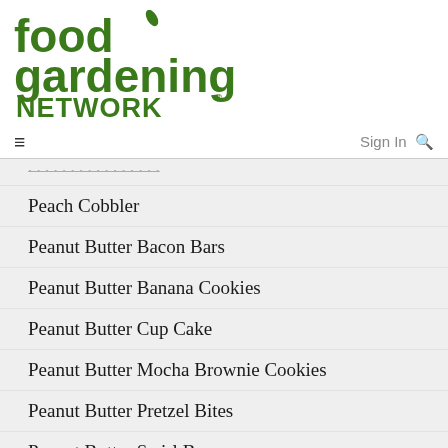[Figure (logo): Food Gardening Network logo in dark green bold text]
≡   Sign In 🔍
Peach Cobbler
Peanut Butter Bacon Bars
Peanut Butter Banana Cookies
Peanut Butter Cup Cake
Peanut Butter Mocha Brownie Cookies
Peanut Butter Pretzel Bites
Peanut Butter Swirl Bars
Pear Crisp
Pecan Pie Cheesecake Bars
Pecan Sandies